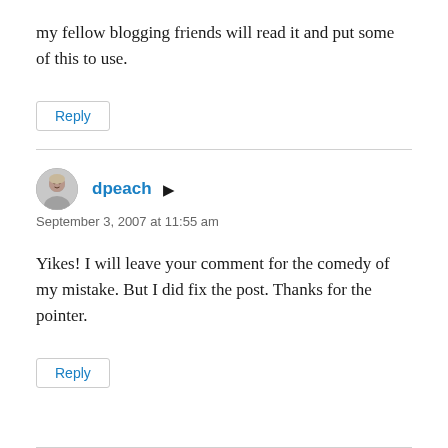my fellow blogging friends will read it and put some of this to use.
Reply
dpeach
September 3, 2007 at 11:55 am
Yikes! I will leave your comment for the comedy of my mistake. But I did fix the post. Thanks for the pointer.
Reply